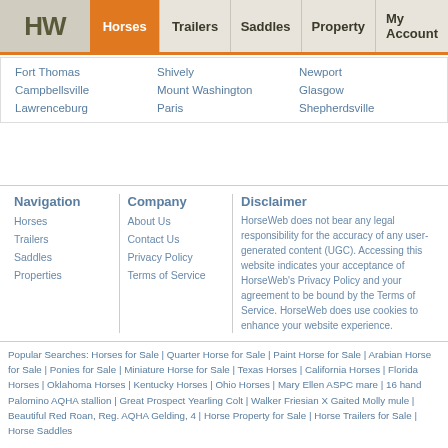HW | Horses | Trailers | Saddles | Property | My Account
Fort Thomas
Shively
Newport
Campbellsville
Mount Washington
Glasgow
Lawrenceburg
Paris
Shepherdsville
Navigation
Horses
Trailers
Saddles
Properties
Company
About Us
Contact Us
Privacy Policy
Terms of Service
Disclaimer
HorseWeb does not bear any legal responsibility for the accuracy of any user-generated content (UGC). Accessing this website indicates your acceptance of HorseWeb's Privacy Policy and your agreement to be bound by the Terms of Service. HorseWeb does use cookies to enhance your website experience.
Popular Searches: Horses for Sale | Quarter Horse for Sale | Paint Horse for Sale | Arabian Horse for Sale | Ponies for Sale | Miniature Horse for Sale | Texas Horses | California Horses | Florida Horses | Oklahoma Horses | Kentucky Horses | Ohio Horses | Mary Ellen ASPC mare | 16 hand Palomino AQHA stallion | Great Prospect Yearling Colt | Walker Friesian X Gaited Molly mule | Beautiful Red Roan, Reg. AQHA Gelding, 4 | Horse Property for Sale | Horse Trailers for Sale | Horse Saddles
Classified listings of of Horses for Sale near Clarkson, KY
Copyright © 1995-2022 HorseWeb.com